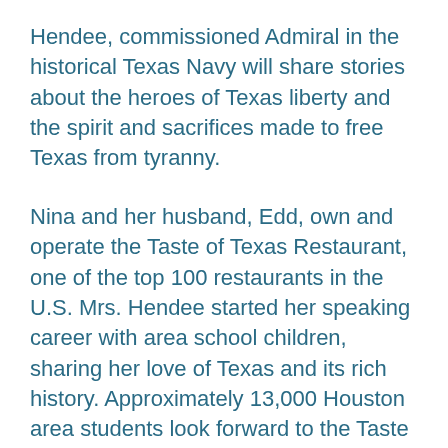Hendee, commissioned Admiral in the historical Texas Navy will share stories about the heroes of Texas liberty and the spirit and sacrifices made to free Texas from tyranny.
Nina and her husband, Edd, own and operate the Taste of Texas Restaurant, one of the top 100 restaurants in the U.S. Mrs. Hendee started her speaking career with area school children, sharing her love of Texas and its rich history. Approximately 13,000 Houston area students look forward to the Taste of Texas field trip each school year where they hear great tales of our Texas forefathers, tour the restaurant, and enjoy a lunch, compliments of the owners.
An active member of the Houston Livestock Show and Rodeo's Speakers Committee, Nina has won the